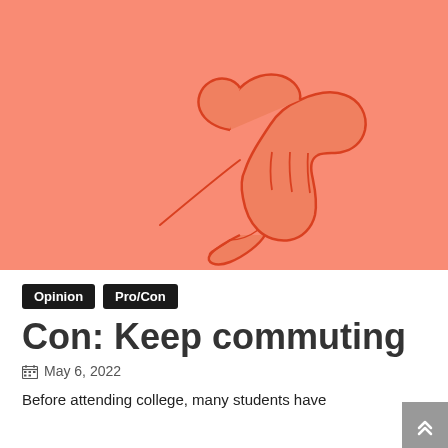[Figure (illustration): Illustration of a thumbs-down hand gesture in red/orange outline on a salmon/coral orange background.]
Opinion  Pro/Con
Con: Keep commuting
May 6, 2022
Before attending college, many students have